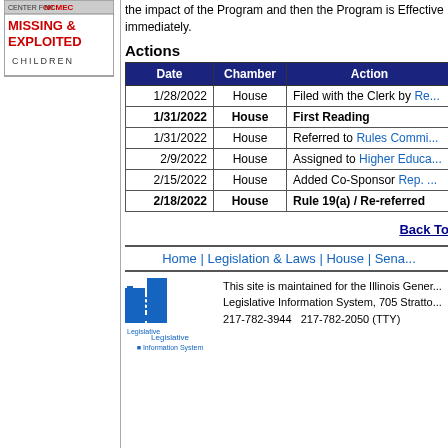[Figure (logo): National Center for Missing & Exploited Children logo with red text]
the impact of the Program and then the Program is Effective immediately.
Actions
| Date | Chamber | Action |
| --- | --- | --- |
| 1/28/2022 | House | Filed with the Clerk by Re... |
| 1/31/2022 | House | First Reading |
| 1/31/2022 | House | Referred to Rules Commi... |
| 2/9/2022 | House | Assigned to Higher Educa... |
| 2/15/2022 | House | Added Co-Sponsor Rep. ... |
| 2/18/2022 | House | Rule 19(a) / Re-referred |
Back To
Home | Legislation & Laws | House | Senate
This site is maintained for the Illinois General Legislative Information System, 705 Strato... 217-782-3944   217-782-2050 (TTY)